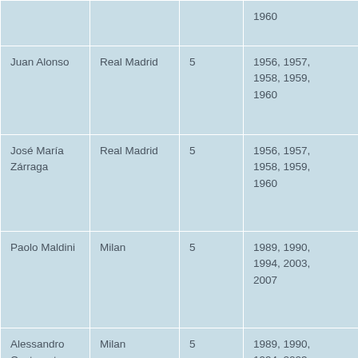|  |  |  | 1960 |
| Juan Alonso | Real Madrid | 5 | 1956, 1957, 1958, 1959, 1960 |
| José María Zárraga | Real Madrid | 5 | 1956, 1957, 1958, 1959, 1960 |
| Paolo Maldini | Milan | 5 | 1989, 1990, 1994, 2003, 2007 |
| Alessandro Costacurta | Milan | 5 | 1989, 1990, 1994, 2003, 2007 |
| Cristiano Ronaldo | Manchester United, Real Madrid | 5 | 2008, 2014, 2016, 2017, 2018 |